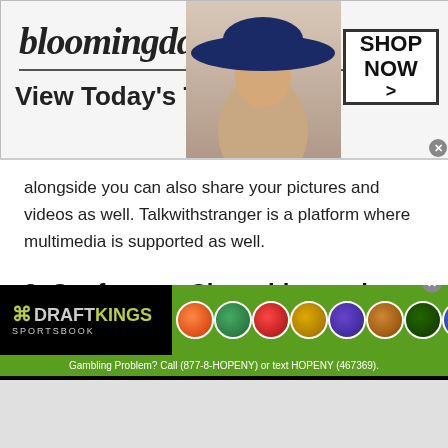[Figure (screenshot): Bloomingdales advertisement banner: logo text 'bloomingdales', tagline 'View Today's Top Deals!', model wearing blue hat, 'SHOP NOW >' button in bordered box]
alongside you can also share your pictures and videos as well. Talkwithstranger is a platform where multimedia is supported as well.
3. Conference Chat with people Myanmar:
You might have heard of a group calling and chatting. Talk with strangers enables individuals to video chat with multiple people of Myanmar. However, this
[Figure (screenshot): DraftKings Sportsbook advertisement banner with green background, team helmets, orange BET NOW button, and disclaimer text: Gambling Problem? Call (877-8-HOPENY) or text HOPENY (467369).]